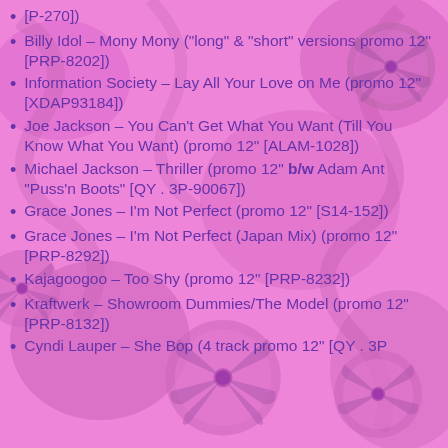[P-270])
Billy Idol – Mony Mony ("long" & "short" versions promo 12" [PRP-8202])
Information Society – Lay All Your Love on Me (promo 12" [XDAP93184])
Joe Jackson – You Can't Get What You Want (Till You Know What You Want) (promo 12" [ALAM-1028])
Michael Jackson – Thriller (promo 12" b/w Adam Ant "Puss'n Boots" [QY . 3P-90067])
Grace Jones – I'm Not Perfect (promo 12" [S14-152])
Grace Jones – I'm Not Perfect (Japan Mix) (promo 12" [PRP-8292])
Kajagoogoo – Too Shy (promo 12" [PRP-8232])
Kraftwerk – Showroom Dummies/The Model (promo 12" [PRP-8132])
Cyndi Lauper – She Bop (4 track promo 12" [QY . 3P-…])